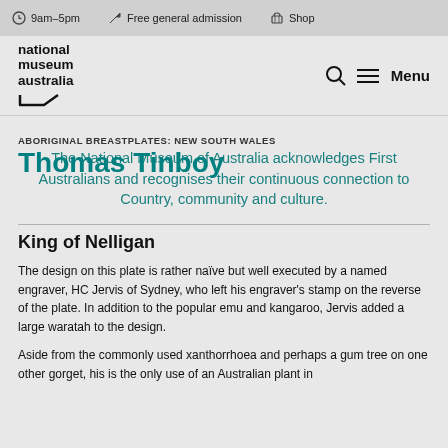9am–5pm   Free general admission   Shop
[Figure (logo): National Museum Australia logo with text and arrow mark]
ABORIGINAL BREASTPLATES: NEW SOUTH WALES
Thomas Tinboy
The National Museum of Australia acknowledges First Australians and recognises their continuous connection to Country, community and culture.
King of Nelligan
The design on this plate is rather naïve but well executed by a named engraver, HC Jervis of Sydney, who left his engraver's stamp on the reverse of the plate. In addition to the popular emu and kangaroo, Jervis added a large waratah to the design.
Aside from the commonly used xanthorrhoea and perhaps a gum tree on one other gorget, his is the only use of an Australian plant in